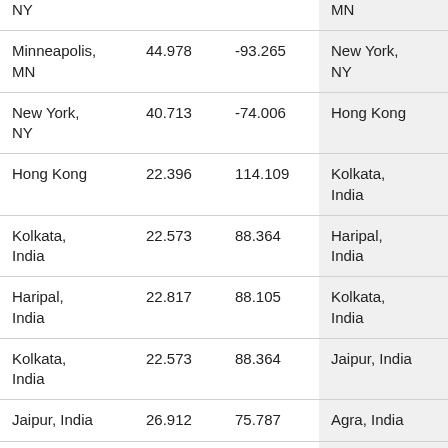| NY |  |  | MN |  |
| Minneapolis, MN | 44.978 | -93.265 | New York, NY | 40.713 |
| New York, NY | 40.713 | -74.006 | Hong Kong | 22.396 |
| Hong Kong | 22.396 | 114.109 | Kolkata, India | 22.573 |
| Kolkata, India | 22.573 | 88.364 | Haripal, India | 22.817 |
| Haripal, India | 22.817 | 88.105 | Kolkata, India | 22.573 |
| Kolkata, India | 22.573 | 88.364 | Jaipur, India | 26.912 |
| Jaipur, India | 26.912 | 75.787 | Agra, India | 27.177 |
| Agra, India | 27.177 | 78.008 | Delhi, India | 28.614 |